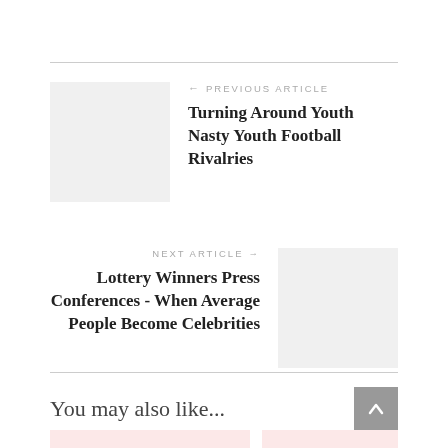← PREVIOUS ARTICLE
Turning Around Youth Nasty Youth Football Rivalries
NEXT ARTICLE →
Lottery Winners Press Conferences - When Average People Become Celebrities
You may also like...